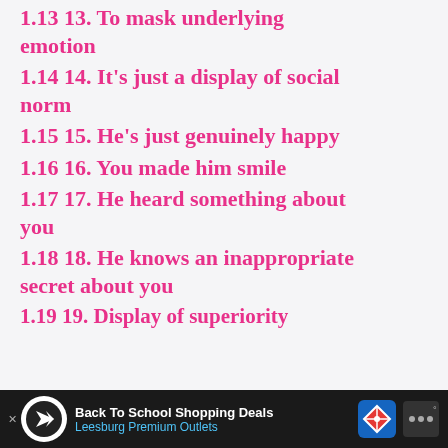1.13 13. To mask underlying emotion
1.14 14. It's just a display of social norm
1.15 15. He's just genuinely happy
1.16 16. You made him smile
1.17 17. He heard something about you
1.18 18. He knows an inappropriate secret about you
1.19 19. Display of superiority